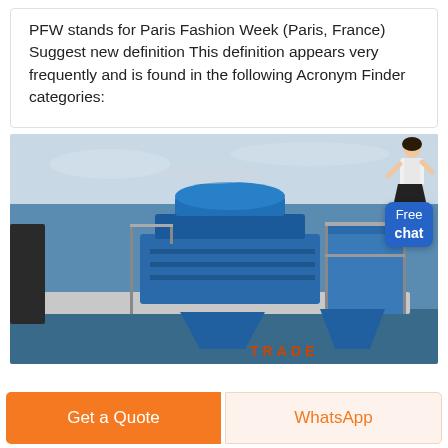PFW stands for Paris Fashion Week (Paris, France) Suggest new definition This definition appears very frequently and is found in the following Acronym Finder categories:
[Figure (photo): Industrial machine (likely a vertical shaft impact crusher or sand making machine) in blue color, photographed outdoors on a platform. Chat widget with a female figure and 'Free chat' button overlay in top right corner.]
Get a Quote
WhatsApp